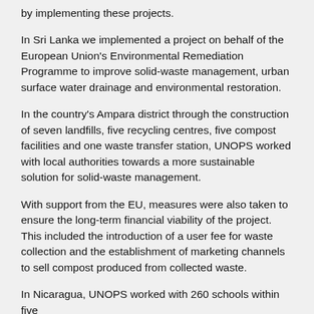by implementing these projects.
In Sri Lanka we implemented a project on behalf of the European Union's Environmental Remediation Programme to improve solid-waste management, urban surface water drainage and environmental restoration.
In the country's Ampara district through the construction of seven landfills, five recycling centres, five compost facilities and one waste transfer station, UNOPS worked with local authorities towards a more sustainable solution for solid-waste management.
With support from the EU, measures were also taken to ensure the long-term financial viability of the project. This included the introduction of a user fee for waste collection and the establishment of marketing channels to sell compost produced from collected waste.
In Nicaragua, UNOPS worked with 260 schools within five